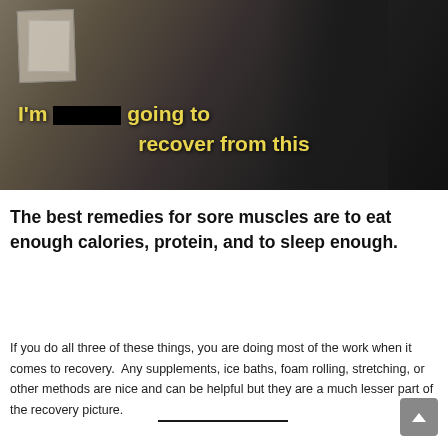[Figure (screenshot): Screenshot of a TV show or video with two people visible. Subtitles show: "I'm [REDACTED] going to recover from this" in yellow bold text.]
The best remedies for sore muscles are to eat enough calories, protein, and to sleep enough.
If you do all three of these things, you are doing most of the work when it comes to recovery.  Any supplements, ice baths, foam rolling, stretching, or other methods are nice and can be helpful but they are a much lesser part of the recovery picture.